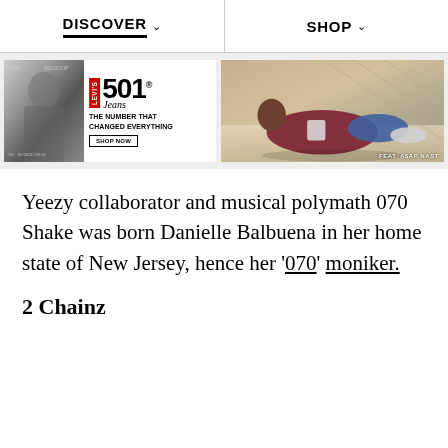DISCOVER  SHOP
[Figure (advertisement): Levi's 501 Jeans advertisement with black and white photo of person on left, red Levi's tab logo, large '501' text, tagline 'THE NUMBER THAT CHANGED EVERYTHING', and 'SHOP NOW' button]
[Figure (photo): Fashion advertisement photo featuring A$AP Nast wearing a burgundy jacket and jeans, reclining. Text 'FEAT. A$AP NAST' in lower right corner.]
Yeezy collaborator and musical polymath 070 Shake was born Danielle Balbuena in her home state of New Jersey, hence her '070' moniker.
2 Chainz